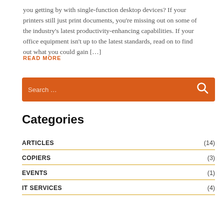you getting by with single-function desktop devices? If your printers still just print documents, you're missing out on some of the industry's latest productivity-enhancing capabilities. If your office equipment isn't up to the latest standards, read on to find out what you could gain […]
READ MORE
[Figure (other): Orange search bar with magnifying glass icon and placeholder text 'Search ...']
Categories
ARTICLES (14)
COPIERS (3)
EVENTS (1)
IT SERVICES (4)